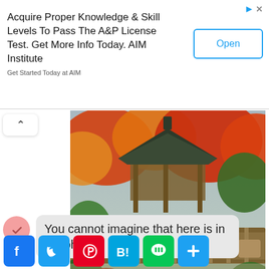Acquire Proper Knowledge & Skill Levels To Pass The A&P License Test. Get More Info Today. AIM Institute
Get Started Today at AIM
[Figure (photo): Japanese garden with traditional wooden pavilion and bridge surrounded by autumn foliage in red, orange, and green. Stone railing bridge spans across garden. Photo from i.ytimg.com]
i.ytimg.com
You cannot imagine that here is in Yokohama